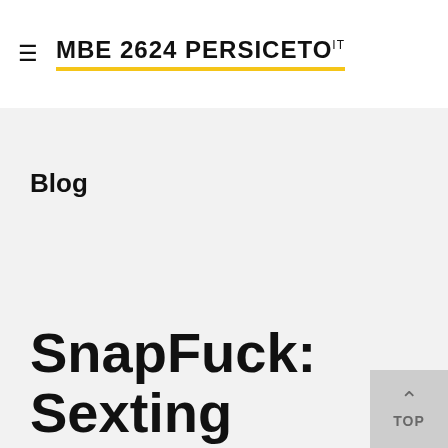≡  MBE 2624 PERSICETO IT
Blog
SnapFuck: Sexting